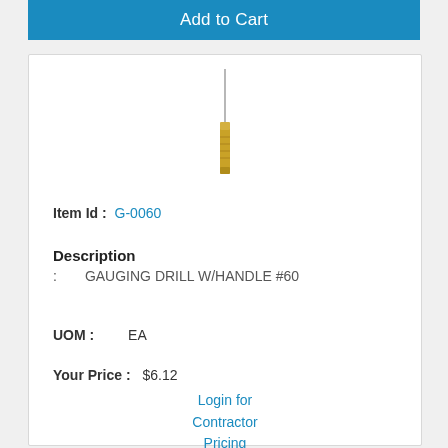Add to Cart
[Figure (photo): A gauging drill with handle #60 — a slender metal needle with a small gold-colored cylindrical handle, shown vertically.]
Item Id : G-0060
Description
: GAUGING DRILL W/HANDLE #60
UOM : EA
Your Price : $6.12
Login for Contractor Pricing
Qty :